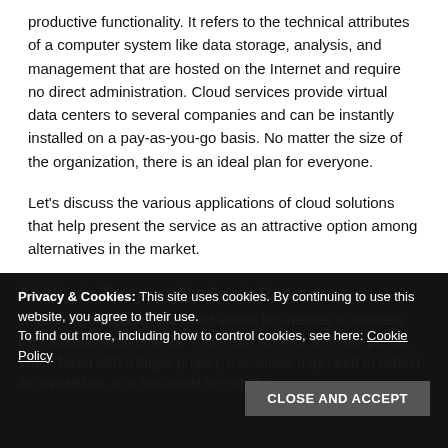productive functionality. It refers to the technical attributes of a computer system like data storage, analysis, and management that are hosted on the Internet and require no direct administration. Cloud services provide virtual data centers to several companies and can be instantly installed on a pay-as-you-go basis. No matter the size of the organization, there is an ideal plan for everyone.
Let's discuss the various applications of cloud solutions that help present the service as an attractive option among alternatives in the market.
Ability to Temporarily Scale Resources
To add more capacity, the cloud allows businesses to increase their storage requirements. This might work for a limited period. When faced with a larger project, a business may need to extend its capabilities. In a traditional set-up, the
Privacy & Cookies: This site uses cookies. By continuing to use this website, you agree to their use. To find out more, including how to control cookies, see here: Cookie Policy